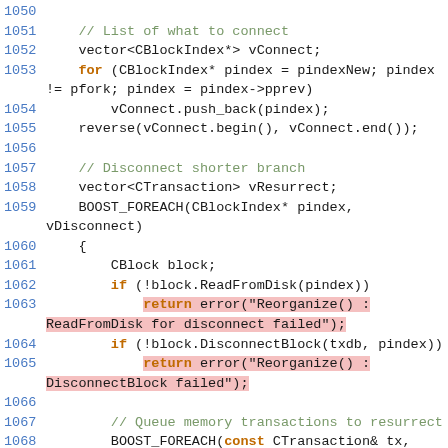Source code listing lines 1050-1072, C++ blockchain reorganize function